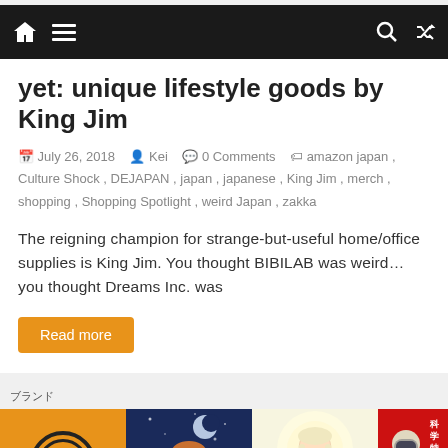Navigation bar with home, menu, search, and shuffle icons
yet: unique lifestyle goods by King Jim
July 26, 2018   Kei   0 Comments   amazon japan, Culture Shock, DEJAPAN, japan, japanese, King Jim, merch, shopping, Shopping Spotlight, weird Japan, zakka
The reigning champion for strange-but-useful home/office supplies is King Jim. You thought BIBILAB was weird… you thought Dreams Inc. was
Read more
ブランド
[Figure (photo): Four product/merchandise images: orange Dragon Ball t-shirt with Kame kanji, anime girl illustration on dark blue background, white dress/costume on light background, and a figure in red background with Japanese text]